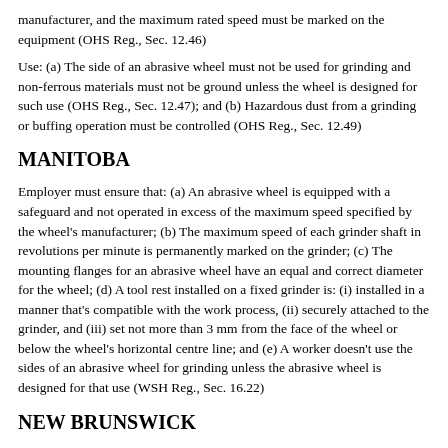manufacturer, and the maximum rated speed must be marked on the equipment (OHS Reg., Sec. 12.46)
Use: (a) The side of an abrasive wheel must not be used for grinding and non-ferrous materials must not be ground unless the wheel is designed for such use (OHS Reg., Sec. 12.47); and (b) Hazardous dust from a grinding or buffing operation must be controlled (OHS Reg., Sec. 12.49)
MANITOBA
Employer must ensure that: (a) An abrasive wheel is equipped with a safeguard and not operated in excess of the maximum speed specified by the wheel's manufacturer; (b) The maximum speed of each grinder shaft in revolutions per minute is permanently marked on the grinder; (c) The mounting flanges for an abrasive wheel have an equal and correct diameter for the wheel; (d) A tool rest installed on a fixed grinder is: (i) installed in a manner that's compatible with the work process, (ii) securely attached to the grinder, and (iii) set not more than 3 mm from the face of the wheel or below the wheel's horizontal centre line; and (e) A worker doesn't use the sides of an abrasive wheel for grinding unless the abrasive wheel is designed for that use (WSH Reg., Sec. 16.22)
NEW BRUNSWICK
Employer must ensure that: (a) The maximum number of revolutions per minute of an abrasive wheel, as recommended for safe use in the manufacturer's specifications, is identified on the wheel; (b) The maximum